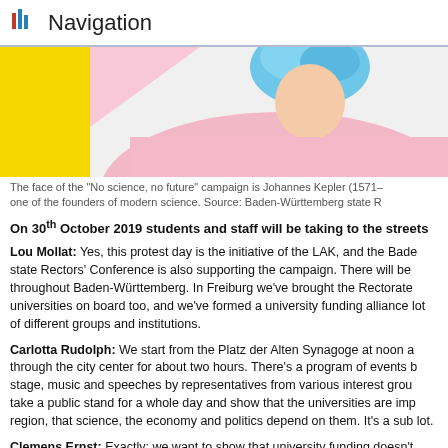Navigation
[Figure (photo): A person wearing a blue wig and pink clothing, posed in front of a yellow background — face of the 'No science, no future' campaign representing Johannes Kepler.]
The face of the "No science, no future" campaign is Johannes Kepler (1571–one of the founders of modern science. Source: Baden-Württemberg state R
On 30th October 2019 students and staff will be taking to the streets
Lou Mollat: Yes, this protest day is the initiative of the LAK, and the Bade state Rectors' Conference is also supporting the campaign. There will be throughout Baden-Württemberg. In Freiburg we've brought the Rectorate universities on board too, and we've formed a university funding alliance lot of different groups and institutions.
Carlotta Rudolph: We start from the Platz der Alten Synagoge at noon a through the city center for about two hours. There's a program of events b stage, music and speeches by representatives from various interest grou take a public stand for a whole day and show that the universities are imp region, that science, the economy and politics depend on them. It's a sub lot.
Clemens Ernst: Exactly: we want to show that university funding doesn't small group. That it isn't, as some say, students want to study at the expe also, and then they benefit from it but no one else does. They have to